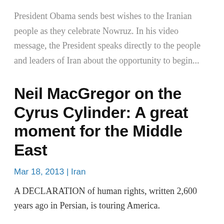President Obama sends best wishes to the Iranian people as they celebrate Nowruz. In his video message, the President speaks directly to the people and leaders of Iran about the opportunity to begin...
Neil MacGregor on the Cyrus Cylinder: A great moment for the Middle East
Mar 18, 2013 | Iran
A DECLARATION of human rights, written 2,600 years ago in Persian, is touring America.